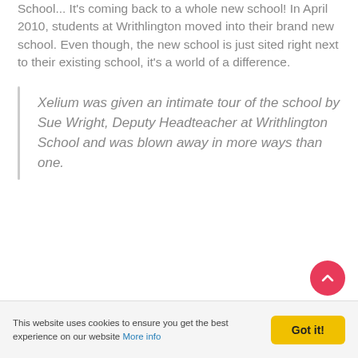School... It's coming back to a whole new school! In April 2010, students at Writhlington moved into their brand new school. Even though, the new school is just sited right next to their existing school, it's a world of a difference.
Xelium was given an intimate tour of the school by Sue Wright, Deputy Headteacher at Writhlington School and was blown away in more ways than one.
This website uses cookies to ensure you get the best experience on our website More info | Got it!